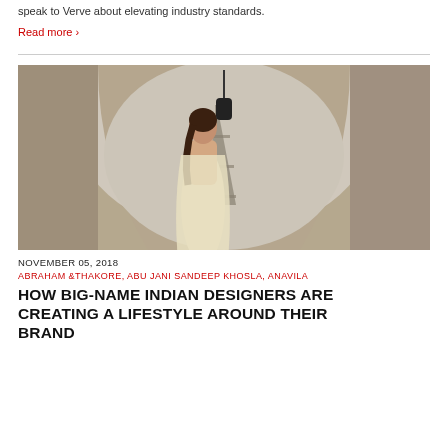speak to Verve about elevating industry standards.
Read more ›
[Figure (photo): Woman in a cream/gold saree posing under a stone arch with the Eiffel Tower visible in the background, Paris.]
NOVEMBER 05, 2018
ABRAHAM &THAKORE, ABU JANI SANDEEP KHOSLA, ANAVILA
HOW BIG-NAME INDIAN DESIGNERS ARE CREATING A LIFESTYLE AROUND THEIR BRAND